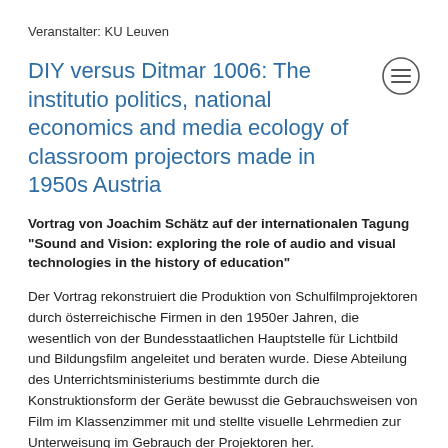Veranstalter: KU Leuven
DIY versus Ditmar 1006: The institutio politics, national economics and media ecology of classroom projectors made in 1950s Austria
Vortrag von Joachim Schätz auf der internationalen Tagung "Sound and Vision: exploring the role of audio and visual technologies in the history of education"
Der Vortrag rekonstruiert die Produktion von Schulfilmprojektoren durch österreichische Firmen in den 1950er Jahren, die wesentlich von der Bundesstaatlichen Hauptstelle für Lichtbild und Bildungsfilm angeleitet und beraten wurde. Diese Abteilung des Unterrichtsministeriums bestimmte durch die Konstruktionsform der Geräte bewusst die Gebrauchsweisen von Film im Klassenzimmer mit und stellte visuelle Lehrmedien zur Unterweisung im Gebrauch der Projektoren her.